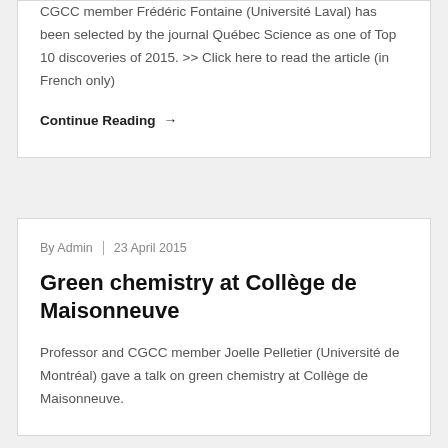CGCC member Frédéric Fontaine (Université Laval) has been selected by the journal Québec Science as one of Top 10 discoveries of 2015. >> Click here to read the article (in French only)
Continue Reading →
By Admin | 23 April 2015
Green chemistry at Collège de Maisonneuve
Professor and CGCC member Joelle Pelletier (Université de Montréal) gave a talk on green chemistry at Collège de Maisonneuve.